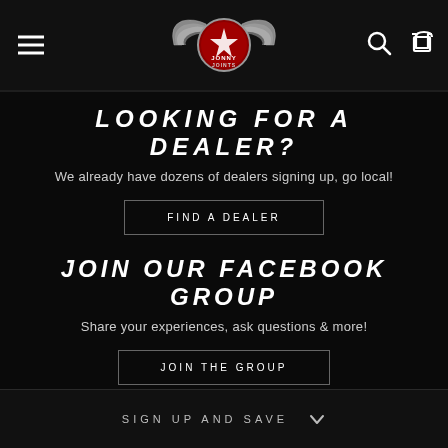[Figure (screenshot): Website navigation bar with hamburger menu on left, winged logo badge in center, search and cart icons on right]
LOOKING FOR A DEALER?
We already have dozens of dealers signing up, go local!
FIND A DEALER
JOIN OUR FACEBOOK GROUP
Share your experiences, ask questions & more!
JOIN THE GROUP
SIGN UP AND SAVE